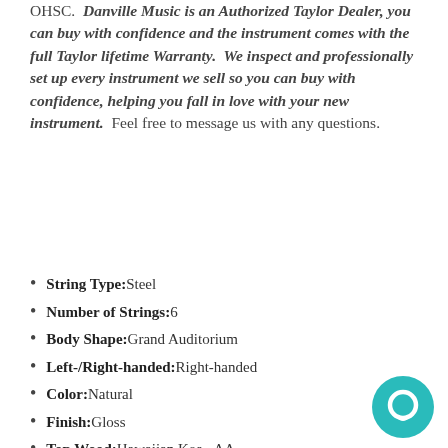OHSC. Danville Music is an Authorized Taylor Dealer, you can buy with confidence and the instrument comes with the full Taylor lifetime Warranty. We inspect and professionally set up every instrument we sell so you can buy with confidence, helping you fall in love with your new instrument. Feel free to message us with any questions.
String Type:Steel
Number of Strings:6
Body Shape:Grand Auditorium
Left-/Right-handed:Right-handed
Color:Natural
Finish:Gloss
Top Wood:Hawaiian Koa , AA
Back & Sides Wood:Hawaiian Koa , AA